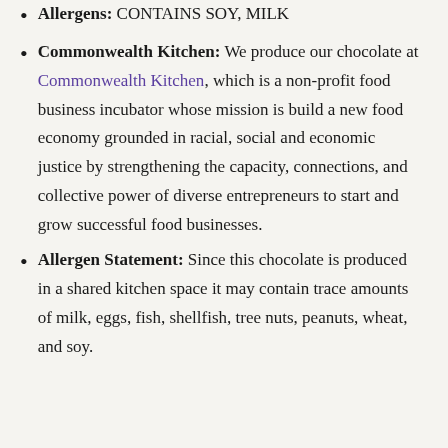Allergens: CONTAINS SOY, MILK
Commonwealth Kitchen: We produce our chocolate at Commonwealth Kitchen, which is a non-profit food business incubator whose mission is build a new food economy grounded in racial, social and economic justice by strengthening the capacity, connections, and collective power of diverse entrepreneurs to start and grow successful food businesses.
Allergen Statement: Since this chocolate is produced in a shared kitchen space it may contain trace amounts of milk, eggs, fish, shellfish, tree nuts, peanuts, wheat, and soy.